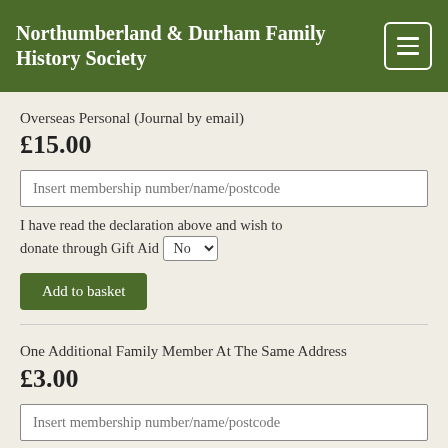Northumberland & Durham Family History Society
Overseas Personal (Journal by email)
£15.00
Insert membership number/name/postcode
I have read the declaration above and wish to donate through Gift Aid No
Add to basket
One Additional Family Member At The Same Address
£3.00
Insert membership number/name/postcode
I have read the declaration above and wish to donate through Gift Aid No
Add to basket